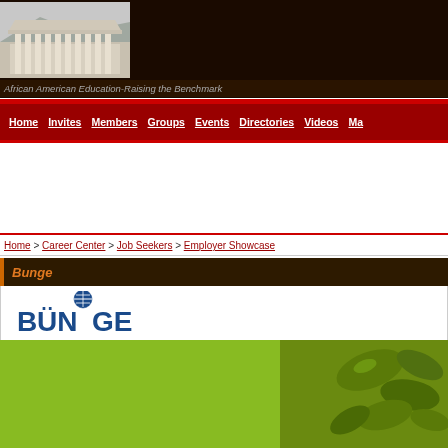[Figure (photo): Photo of Greek/Roman columned temple building (Parthenon-like) in header]
African American Education-Raising the Benchmark
Home | Invites | Members | Groups | Events | Directories | Videos | Ma...
Home > Career Center > Job Seekers > Employer Showcase
Bunge
[Figure (logo): Bunge company logo in blue with globe symbol above the U]
[Figure (photo): Green nature/leaves background banner image]